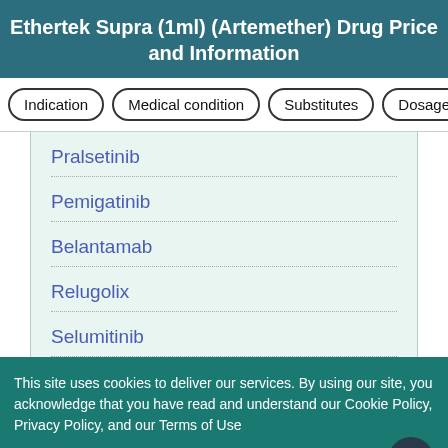Ethertek Supra (1ml) (Artemether) Drug Price and Information
Indication
Medical condition
Substitutes
Dosage
Pralsetinib
Pemigatinib
Belantamab
Relugolix
Selumitinib
This site uses cookies to deliver our services. By using our site, you acknowledge that you have read and understand our Cookie Policy, Privacy Policy, and our Terms of Use
OK, I agree
No, give me more info
Close